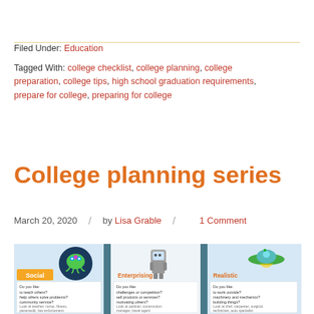Filed Under: Education
Tagged With: college checklist, college planning, college preparation, college tips, high school graduation requirements, prepare for college, preparing for college
College planning series
March 20, 2020 / by Lisa Grable / 1 Comment
[Figure (infographic): Infographic showing three personality/career type panels: Social (alien/octopus character on blue background), Enterprising (robot/astronaut character), and Realistic (UFO character on blue background), each with 'Do you like...' text and career examples]